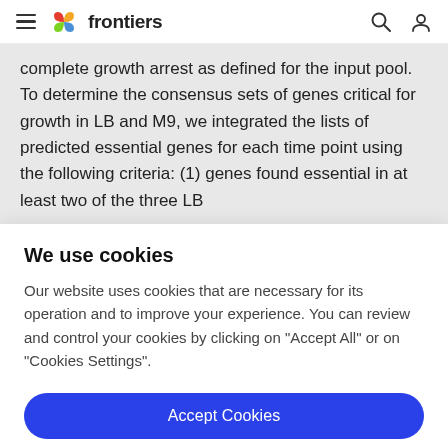frontiers
complete growth arrest as defined for the input pool. To determine the consensus sets of genes critical for growth in LB and M9, we integrated the lists of predicted essential genes for each time point using the following criteria: (1) genes found essential in at least two of the three LB
We use cookies
Our website uses cookies that are necessary for its operation and to improve your experience. You can review and control your cookies by clicking on "Accept All" or on "Cookies Settings".
Accept Cookies
Cookies Settings